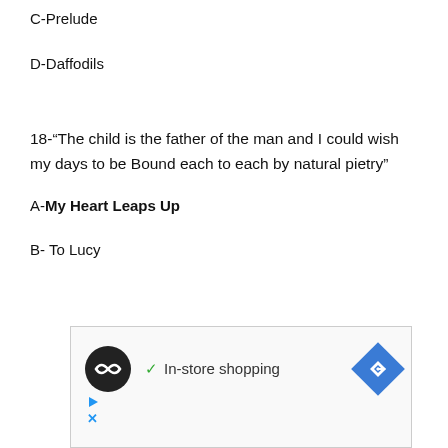C-Prelude
D-Daffodils
18-“The child is the father of the man and I could wish my days to be Bound each to each by natural pietry”
A-My Heart Leaps Up
B- To Lucy
[Figure (other): Advertisement banner with a circular black logo with double arrow icon, a checkmark with text 'In-store shopping', and a blue diamond-shaped navigation arrow icon. Below are small play and close controls.]